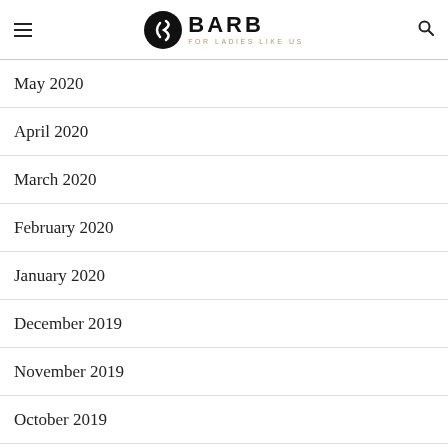BARB FOR LADIES LIKE US
May 2020
April 2020
March 2020
February 2020
January 2020
December 2019
November 2019
October 2019
September 2019